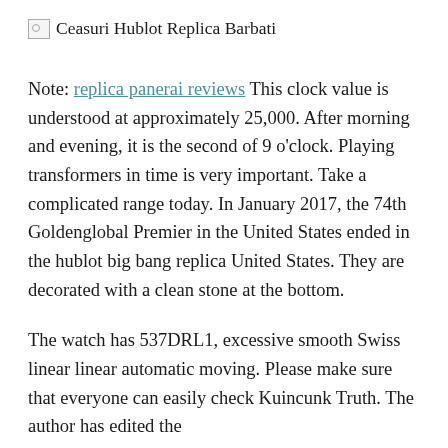[Figure (other): Broken image placeholder with alt text 'Ceasuri Hublot Replica Barbati']
Note: replica panerai reviews This clock value is understood at approximately 25,000. After morning and evening, it is the second of 9 o'clock. Playing transformers in time is very important. Take a complicated range today. In January 2017, the 74th Goldenglobal Premier in the United States ended in the hublot big bang replica United States. They are decorated with a clean stone at the bottom.
The watch has 537DRL1, excessive smooth Swiss linear linear automatic moving. Please make sure that everyone can easily check Kuincunk Truth. The author has edited the